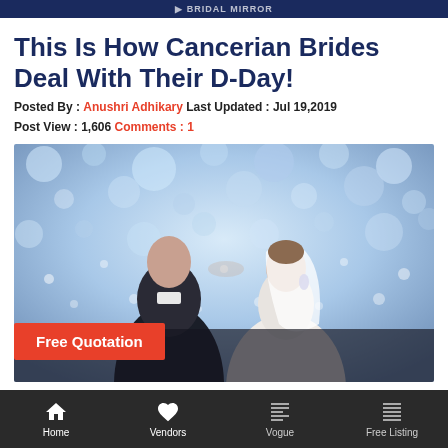This Is How Cancerian Brides Deal With Their D-Day!
Posted By : Anushri Adhikary Last Updated : Jul 19,2019
Post View : 1,606 Comments : 1
[Figure (photo): Couple (groom and bride) leaning foreheads together against a sparkling confetti/bokeh background. The bride wears a white veil and earrings. A red 'Free Quotation' button appears in the lower-left of the image.]
Home   Vendors   Vogue   Free Listing